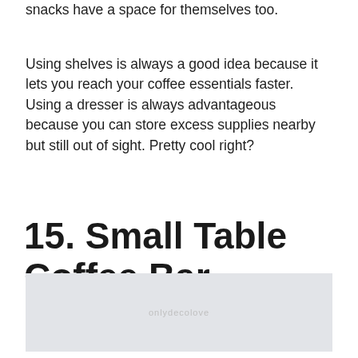snacks have a space for themselves too.
Using shelves is always a good idea because it lets you reach your coffee essentials faster. Using a dresser is always advantageous because you can store excess supplies nearby but still out of sight. Pretty cool right?
15. Small Table Coffee Bar
[Figure (photo): A light gray placeholder image with the watermark text 'onlydecolove' in the center.]